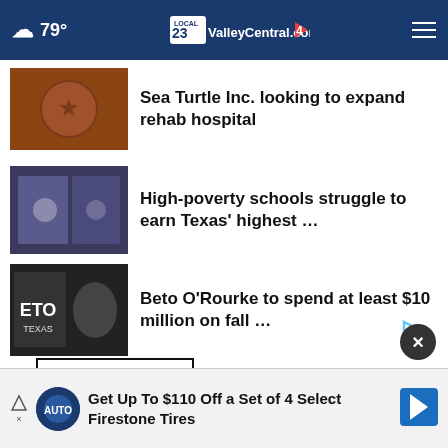☁ 79° — ValleyCentral.com — menu
Sea Turtle Inc. looking to expand rehab hospital
High-poverty schools struggle to earn Texas' highest …
Beto O'Rourke to spend at least $10 million on fall …
More Stories ›
Get Up To $110 Off a Set of 4 Select Firestone Tires